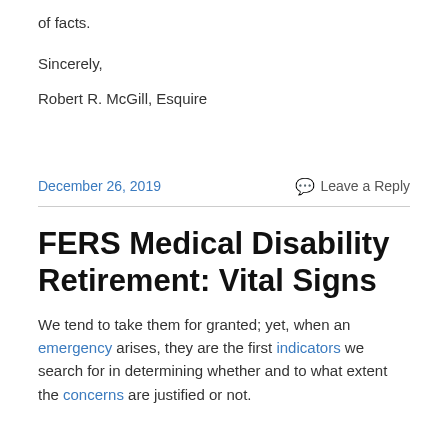of facts.
Sincerely,
Robert R. McGill, Esquire
December 26, 2019
Leave a Reply
FERS Medical Disability Retirement: Vital Signs
We tend to take them for granted; yet, when an emergency arises, they are the first indicators we search for in determining whether and to what extent the concerns are justified or not.